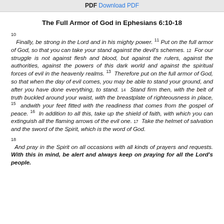PDF Download PDF
The Full Armor of God in Ephesians 6:10-18
10 Finally, be strong in the Lord and in his mighty power. 11 Put on the full armor of God, so that you can take your stand against the devil's schemes. 12 For our struggle is not against flesh and blood, but against the rulers, against the authorities, against the powers of this dark world and against the spiritual forces of evil in the heavenly realms. 13 Therefore put on the full armor of God, so that when the day of evil comes, you may be able to stand your ground, and after you have done everything, to stand. 14 Stand firm then, with the belt of truth buckled around your waist, with the breastplate of righteousness in place, 15 andwith your feet fitted with the readiness that comes from the gospel of peace. 16 In addition to all this, take up the shield of faith, with which you can extinguish all the flaming arrows of the evil one. 17 Take the helmet of salvation and the sword of the Spirit, which is the word of God. 18 And pray in the Spirit on all occasions with all kinds of prayers and requests. With this in mind, be alert and always keep on praying for all the Lord's people.